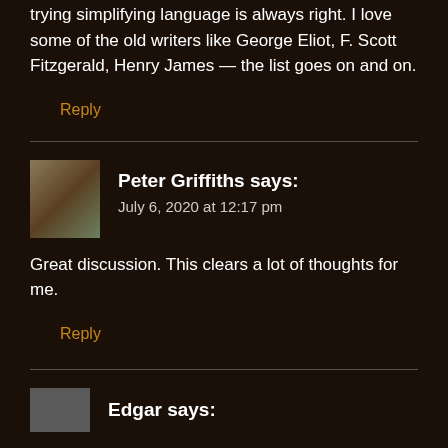trying simplifying language is always right. I love some of the old writers like George Eliot, F. Scott Fitzgerald, Henry James — the list goes on and on.
Reply
Peter Griffiths says:
July 6, 2020 at 12:17 pm
Great discussion. This clears a lot of thoughts for me.
Reply
Edgar says: